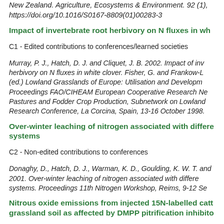New Zealand. Agriculture, Ecosystems & Environment. 92 (1), https://doi.org/10.1016/S0167-8809(01)00283-3
Impact of invertebrate root herbivory on N fluxes in wh...
C1 - Edited contributions to conferences/learned societies
Murray, P. J., Hatch, D. J. and Cliquet, J. B. 2002. Impact of inv... herbivory on N fluxes in white clover. Fisher, G. and Frankow-L... (ed.) Lowland Grasslands of Europe: Utilisation and Developm... Proceedings FAO/CIHEAM European Cooperative Research Ne... Pastures and Fodder Crop Production, Subnetwork on Lowland... Research Conference, La Corcina, Spain, 13-16 October 1998.
Over-winter leaching of nitrogen associated with differe... systems
C2 - Non-edited contributions to conferences
Donaghy, D., Hatch, D. J., Warman, K. D., Goulding, K. W. T. and... 2001. Over-winter leaching of nitrogen associated with differe... systems. Proceedings 11th Nitrogen Workshop, Reims, 9-12 Se...
Nitrous oxide emissions from injected 15N-labelled catt... grassland soil as affected by DMPP pitrification inhibito...